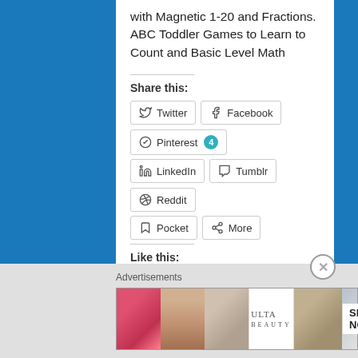with Magnetic 1-20 and Fractions. ABC Toddler Games to Learn to Count and Basic Level Math
Share this:
Twitter
Facebook
Pinterest 4
LinkedIn
Tumblr
Reddit
Pocket
More
Like this:
4 bloggers like this.
Advertisements